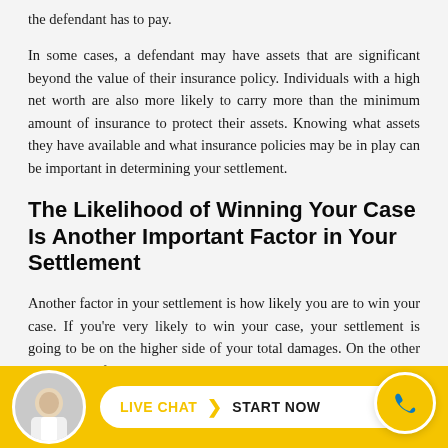the defendant has to pay.
In some cases, a defendant may have assets that are significant beyond the value of their insurance policy. Individuals with a high net worth are also more likely to carry more than the minimum amount of insurance to protect their assets. Knowing what assets they have available and what insurance policies may be in play can be important in determining your settlement.
The Likelihood of Winning Your Case Is Another Important Factor in Your Settlement
Another factor in your settlement is how likely you are to win your case. If you're very likely to win your case, your settlement is going to be on the higher side of your total damages. On the other hand, even if you have very high damages, your settlement value can be diminished if there is some doubt about whether a jury wou return a favorable verdict.